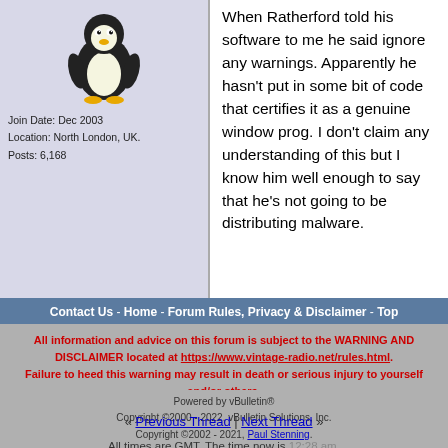[Figure (illustration): Linux Tux penguin mascot icon in left user profile column]
Join Date: Dec 2003
Location: North London, UK.
Posts: 6,168
When Ratherford told his software to me he said ignore any warnings. Apparently he hasn't put in some bit of code that certifies it as a genuine window prog. I don't claim any understanding of this but I know him well enough to say that he's not going to be distributing malware.
[Figure (other): Closed thread button with lock icon]
Page 1 of 3  1  2  3  >
« Previous Thread | Next Thread »
All times are GMT. The time now is 12:28 am.
Contact Us - Home - Forum Rules, Privacy & Disclaimer - Top
All information and advice on this forum is subject to the WARNING AND DISCLAIMER located at https://www.vintage-radio.net/rules.html. Failure to heed this warning may result in death or serious injury to yourself and/or others.
Powered by vBulletin®
Copyright ©2000 - 2022, vBulletin Solutions, Inc.
Copyright ©2002 - 2021, Paul Stenning.